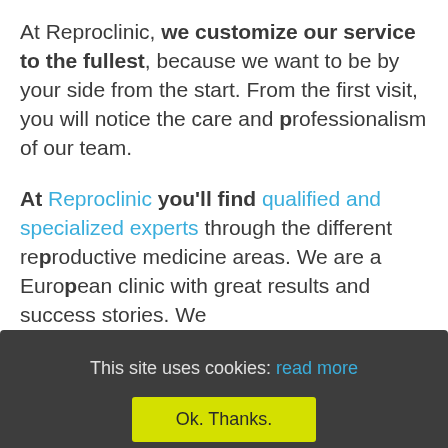At Reproclinic, we customize our service to the fullest, because we want to be by your side from the start. From the first visit, you will notice the care and professionalism of our team.
At Reproclinic you'll find qualified and specialized experts through the different reproductive medicine areas. We are a European clinic with great results and success stories. We ... entire process, being available whenever you need it.
This site uses cookies: read more
Ok. Thanks.